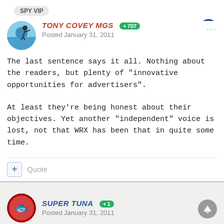SPY VIP
TONY COVEY MGS +707 Posted January 31, 2011
The last sentence says it all. Nothing about the readers, but plenty of "innovative opportunities for advertisers".
At least they're being honest about their objectives. Yet another "independent" voice is lost, not that WRX has been that in quite some time.
+ Quote
SUPER TUNA +1 Posted January 31, 2011
Unimpressed.